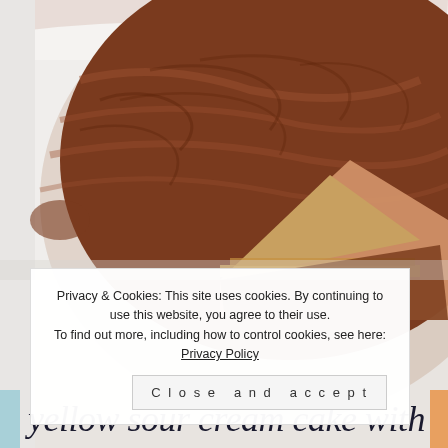[Figure (photo): Close-up photograph of a round chocolate-frosted cake with a slice cut out, showing the yellow cake layers underneath. The chocolate frosting is rustic and swirled. The background is white/light.]
Privacy & Cookies: This site uses cookies. By continuing to use this website, you agree to their use.
To find out more, including how to control cookies, see here: Privacy Policy
yellow sour cream cake with